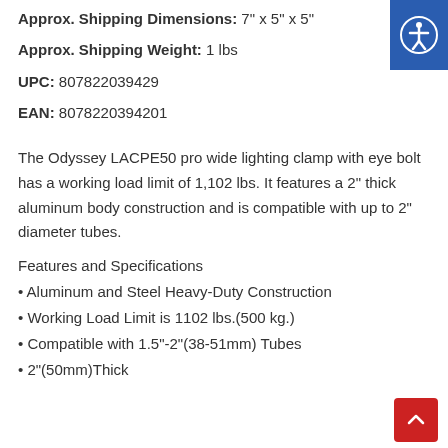Approx. Shipping Dimensions: 7" x 5" x 5"
Approx. Shipping Weight: 1 lbs
UPC: 807822039429
EAN: 8078220394201
The Odyssey LACPE50 pro wide lighting clamp with eye bolt has a working load limit of 1,102 lbs. It features a 2" thick aluminum body construction and is compatible with up to 2" diameter tubes.
Features and Specifications
• Aluminum and Steel Heavy-Duty Construction
• Working Load Limit is 1102 lbs.(500 kg.)
• Compatible with 1.5"-2"(38-51mm) Tubes
• 2"(50mm)Thick